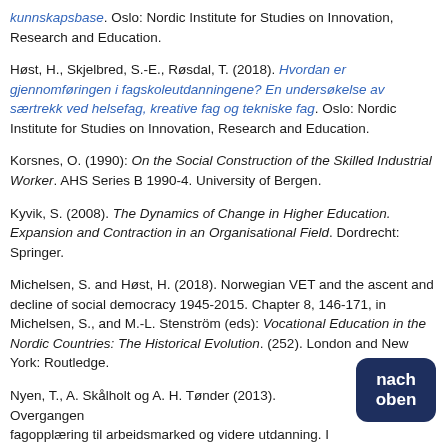kunnskapsbase. Oslo: Nordic Institute for Studies on Innovation, Research and Education.
Høst, H., Skjelbred, S.-E., Røsdal, T. (2018). Hvordan er gjennomføringen i fagskoleutdanningene? En undersøkelse av særtrekk ved helsefag, kreative fag og tekniske fag. Oslo: Nordic Institute for Studies on Innovation, Research and Education.
Korsnes, O. (1990): On the Social Construction of the Skilled Industrial Worker. AHS Series B 1990-4. University of Bergen.
Kyvik, S. (2008). The Dynamics of Change in Higher Education. Expansion and Contraction in an Organisational Field. Dordrecht: Springer.
Michelsen, S. and Høst, H. (2018). Norwegian VET and the ascent and decline of social democracy 1945-2015. Chapter 8, 146-171, in Michelsen, S., and M.-L. Stenström (eds): Vocational Education in the Nordic Countries: The Historical Evolution. (252). London and New York: Routledge.
Nyen, T., A. Skålholt og A. H. Tønder (2013). Overgangen fra fagopplæring til arbeidsmarked og videre utdanning. I H. [...] Forskning på kvalitet i fag- og yrkesopplæringen. Oslo: Nordic Institute for Studies on Innovation, Research and Education.